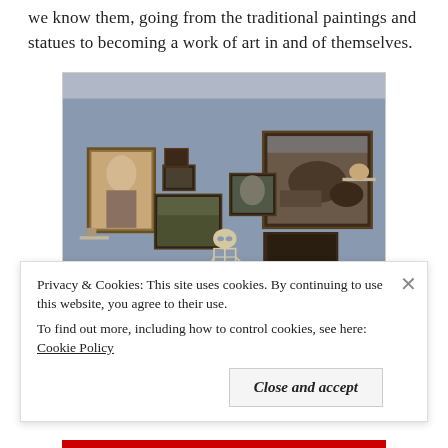we know them, going from the traditional paintings and statues to becoming a work of art in and of themselves.
[Figure (photo): Museum gallery room with blue-grey walls displaying several framed paintings of different sizes. In the foreground is a skeleton sculpture seated on a pedestal holding a staff. The floor is wooden parquet. Various small sculptures are displayed on shelves.]
Privacy & Cookies: This site uses cookies. By continuing to use this website, you agree to their use.
To find out more, including how to control cookies, see here: Cookie Policy